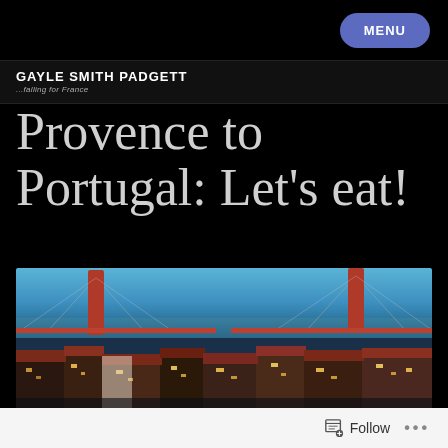MENU
GAYLE SMITH PADGETT
...falling for France
Provence to Portugal: Let’s eat!
[Figure (photo): Panoramic nighttime cityscape of Lisbon, Portugal with a large suspension bridge in the background over the Tagus River, colorful buildings with red rooftops in the foreground lit in warm golden tones]
Follow ...